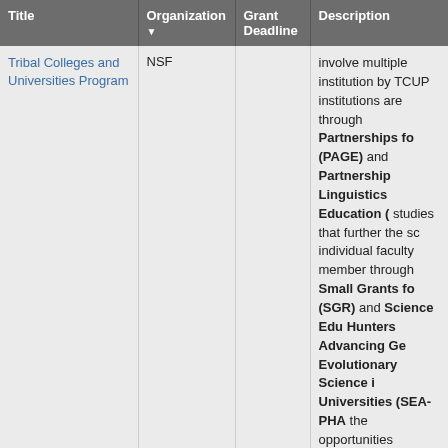| Title | Organization ▼ | Grant Deadline | Description |
| --- | --- | --- | --- |
| Tribal Colleges and Universities Program | NSF |  | involve multiple institution... by TCUP institutions are ... through Partnerships for... (PAGE) and Partnership... Linguistics Education (... studies that further the sc... individual faculty member... through Small Grants fo... (SGR) and Science Edu... Hunters Advancing Ge... Evolutionary Science i... Universities (SEA-PHA... the opportunities highligh... collaborations with other ... Foundation (NSF) units a... organizations, TCUP aim... individuals' participation i... improve the quality of ST... eligible institutions. TCU... inclusion of activities that... |
|  |  |  | Deadline Passed 01/05/... |